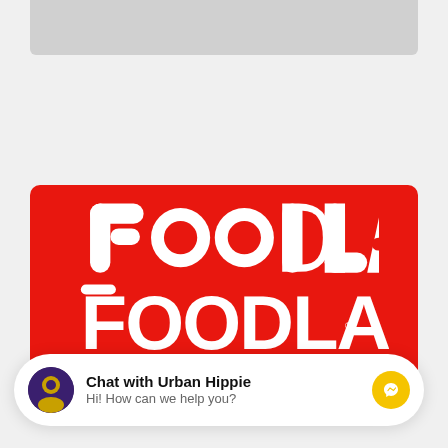[Figure (logo): Foodland logo on red background with tagline 'Fresh food. Friendly neighbours.']
Chat with Urban Hippie
Hi! How can we help you?